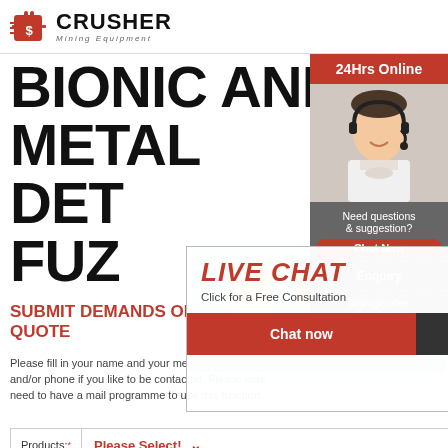[Figure (logo): Crusher Mining Equipment logo with red shopping bag icon and bold CRUSHER text]
BIONIC AND METAL DETECTOR FUZZ
[Figure (photo): Live chat popup overlay with workers in yellow hard hats, LIVE CHAT heading, Chat now and Chat later buttons]
[Figure (photo): Right sidebar with 24Hrs Online label, customer service agent with headset photo, Need questions & suggestion Chat Now button, Enquiry link, limingjlmofen@sina.com email]
SUBMIT DEMANDS ONLINE AND GET QUOTE
Please fill in your name and your message and do not forget mail and/or phone if you like to be contacted. Please note that you need to have a mail programme to use this function.
| Products:* | Please Select! |
| --- | --- |